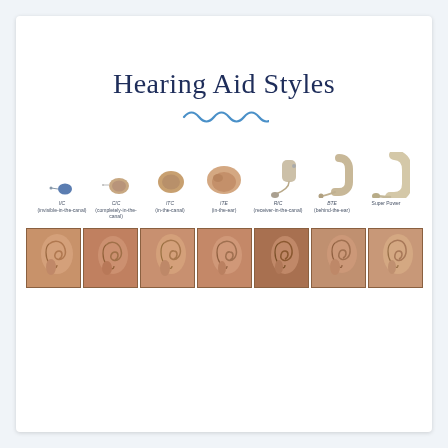Hearing Aid Styles
[Figure (infographic): Seven hearing aid style illustrations arranged in a row: IIC (invisible-in-the-canal), CIC (completely-in-the-canal), ITC (in-the-canal), ITE (in-the-ear), RIC (receiver-in-the-canal), BTE (behind-the-ear), Super Power. Each device shown above a photo of a human ear demonstrating placement.]